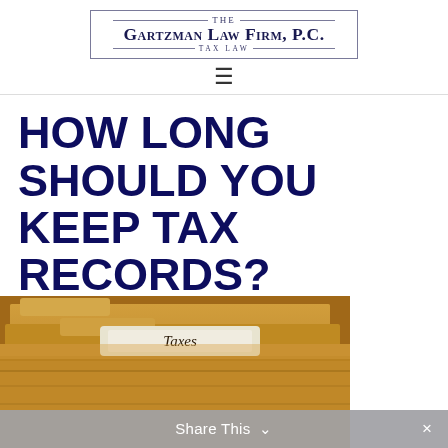[Figure (logo): The Gartzman Law Firm, P.C. Tax Law logo with decorative border and horizontal lines]
HOW LONG SHOULD YOU KEEP TAX RECORDS?
[Figure (photo): Close-up photo of manila file folders in a filing system, with a white label tab reading 'Taxes' in the front folder]
Share This ∨ ×